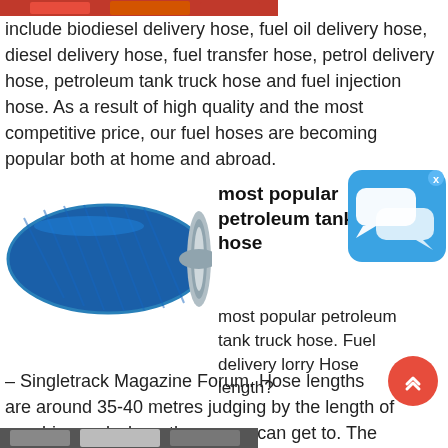[Figure (photo): Partial red image at top left corner]
include biodiesel delivery hose, fuel oil delivery hose, diesel delivery hose, fuel transfer hose, petrol delivery hose, petroleum tank truck hose and fuel injection hose. As a result of high quality and the most competitive price, our fuel hoses are becoming popular both at home and abroad.
[Figure (photo): Blue petroleum tank truck hose coil, showing reinforced braided exterior and silver metal end fitting]
most popular petroleum tank truck hose
[Figure (screenshot): Chat/messaging app icon in blue rounded square with speech bubbles]
most popular petroleum tank truck hose. Fuel delivery lorry Hose length? – Singletrack Magazine Forum. Hose lengths are around 35-40 metres judging by the length of our drive and where the wagon can get to. The problem seems to be your neighbour has put their fuel tank in the wrong place. ☺ And . Tank Trucks & Parts | Seneca Tank. Seneca Tank is proud to offer ...
[Figure (photo): Bottom strip image, partially visible]